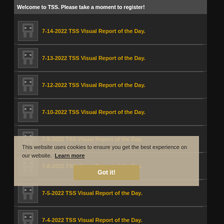Welcome to TSS. Please take a moment to register!
7-14-2022 TSS Visual Report of the Day.
7-13-2022 TSS Visual Report of the Day.
7-12-2022 TSS Visual Report of the Day.
7-10-2022 TSS Visual Report of the Day.
7-9-2022 TSS Visual Report of the Day.
7-8-2022 TSS Visual Report of the Day.
7-5-2022 TSS Visual Report of the Day.
7-4-2022 TSS Visual Report of the Day.
7-2-2022 TSS Visual Report of the Day.
This website uses cookies to ensure you get the best experience on our website. Learn more
Got it!